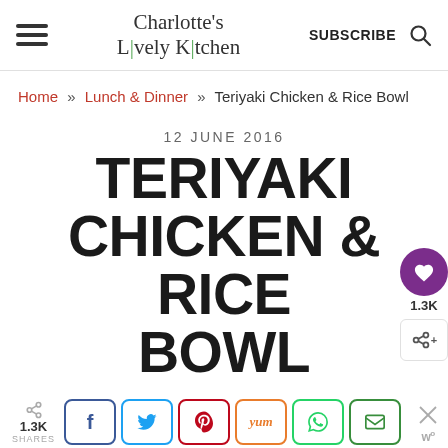Charlotte's Lively Kitchen
Home » Lunch & Dinner » Teriyaki Chicken & Rice Bowl
12 JUNE 2016
TERIYAKI CHICKEN & RICE BOWL
1.3K SHARES